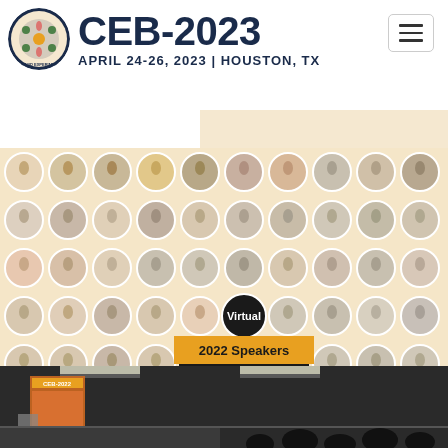[Figure (logo): CEB-2023 International Conference on Cell and Experimental Biology circular logo]
CEB-2023
APRIL 24-26, 2023 | HOUSTON, TX
[Figure (photo): Grid of circular speaker portrait photos arranged in 5 rows of approximately 10 speakers each, on a cream/beige background]
Virtual
2022 Speakers
In-person
[Figure (photo): Bottom photo of conference venue interior with CEB-2022 banner visible]